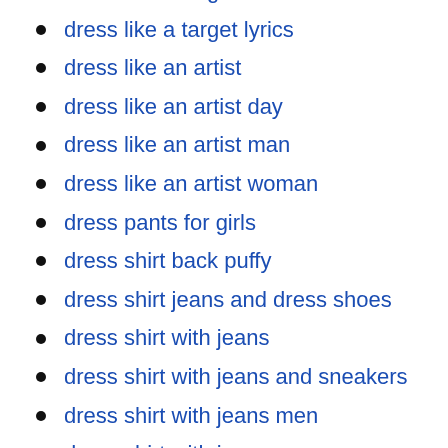dress like a target
dress like a target lyrics
dress like an artist
dress like an artist day
dress like an artist man
dress like an artist woman
dress pants for girls
dress shirt back puffy
dress shirt jeans and dress shoes
dress shirt with jeans
dress shirt with jeans and sneakers
dress shirt with jeans men
dress shirt with jeans women
dress styles for inverted triangle body shape
dress to hide pregnancy